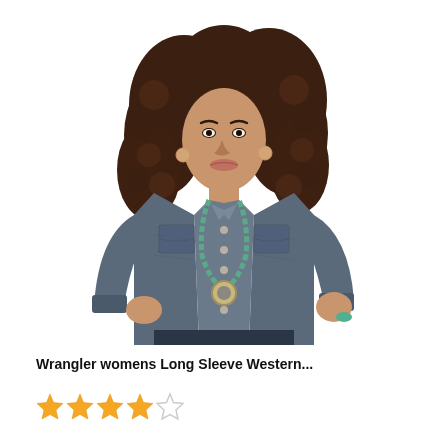[Figure (photo): A woman with curly dark hair wearing a dark denim western-style long sleeve shirt with snap buttons and chest pockets, accessorized with a turquoise necklace, posing against a white background.]
Wrangler womens Long Sleeve Western...
[Figure (other): Star rating showing 4 out of 5 stars: four filled gold stars and one empty/outline star.]